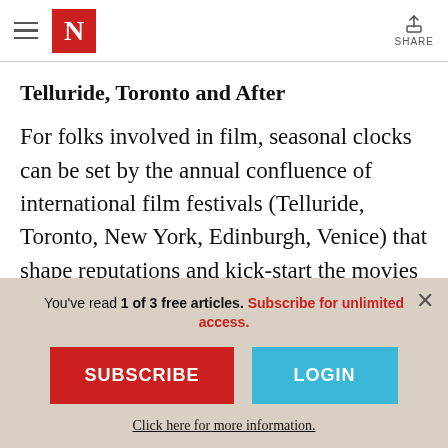N | SHARE
Telluride, Toronto and After
For folks involved in film, seasonal clocks can be set by the annual confluence of international film festivals (Telluride, Toronto, New York, Edinburgh, Venice) that shape reputations and kick-start the movies that show up on screens throughout the fall
You've read 1 of 3 free articles. Subscribe for unlimited access.
SUBSCRIBE
LOGIN
Click here for more information.